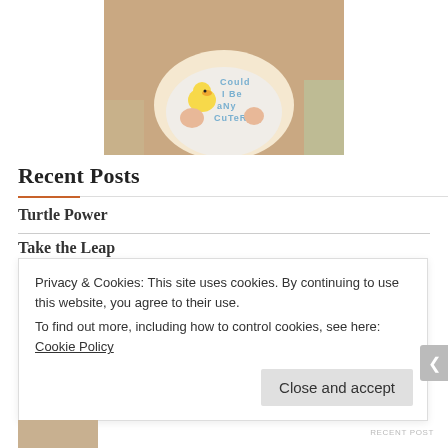[Figure (photo): Photo of a baby in a white onesie with a yellow duck graphic that reads 'Could I Be Any Cuter?', sitting with hands raised, soft background]
Recent Posts
Turtle Power
Take the Leap
Privacy & Cookies: This site uses cookies. By continuing to use this website, you agree to their use.
To find out more, including how to control cookies, see here: Cookie Policy